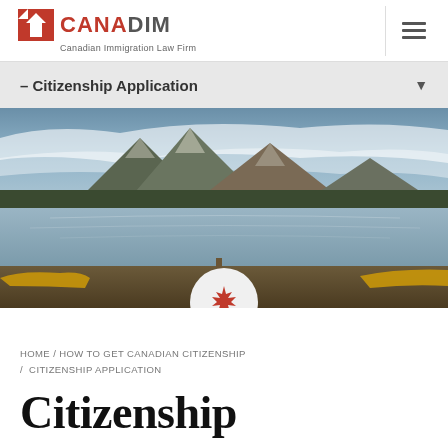[Figure (logo): CANADIM Canadian Immigration Law Firm logo with red maple leaf icon]
– Citizenship Application
[Figure (photo): Panoramic landscape photo of a Canadian mountain lake with canoes, dramatic cloudy sky and reflections on calm water]
HOME / HOW TO GET CANADIAN CITIZENSHIP / CITIZENSHIP APPLICATION
Citizenship